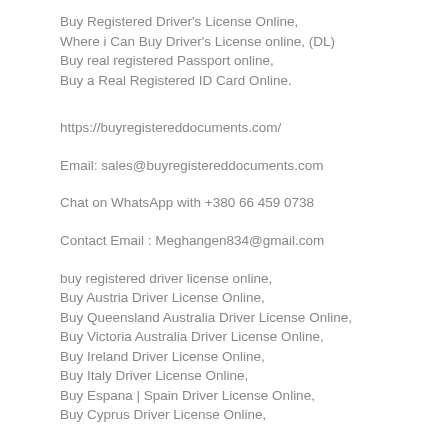Buy Registered Driver's License Online,
Where i Can Buy Driver's License online, (DL)
Buy real registered Passport online,
Buy a Real Registered ID Card Online.
https://buyregistereddocuments.com/
Email: sales@buyregistereddocuments.com
Chat on WhatsApp with +380 66 459 0738
Contact Email : Meghangen834@gmail.com
buy registered driver license online,
Buy Austria Driver License Online,
Buy Queensland Australia Driver License Online,
Buy Victoria Australia Driver License Online,
Buy Ireland Driver License Online,
Buy Italy Driver License Online,
Buy Espana | Spain Driver License Online,
Buy Cyprus Driver License Online,